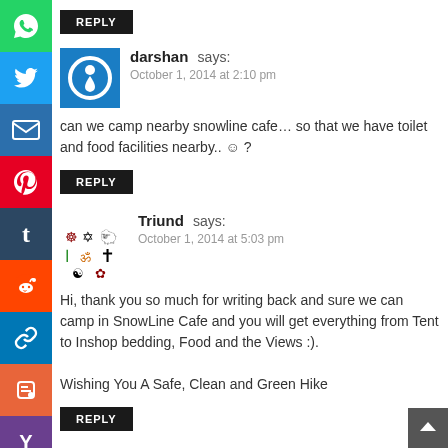[Figure (other): Social media sharing sidebar icons: WhatsApp, Twitter, Email, Pinterest, Tumblr, Reddit, Link, Blogger, Y combinator]
REPLY (button for previous comment)
darshan says:
October 1, 2014 at 2:10 pm
can we camp nearby snowline cafe… so that we have toilet and food facilities nearby.. 🙂 ?
REPLY
Triund says:
October 1, 2014 at 5:03 pm
Hi, thank you so much for writing back and sure we can camp in SnowLine Cafe and you will get everything from Tent to Inshop bedding, Food and the Views :).

Wishing You A Safe, Clean and Green Hike
REPLY